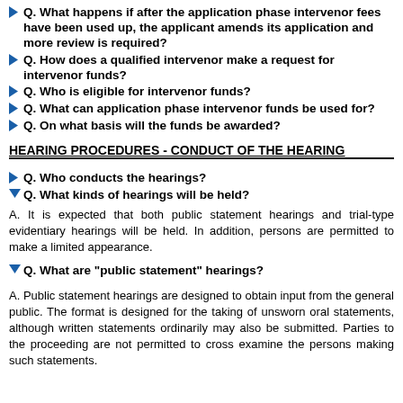Q. What happens if after the application phase intervenor fees have been used up, the applicant amends its application and more review is required?
Q. How does a qualified intervenor make a request for intervenor funds?
Q. Who is eligible for intervenor funds?
Q. What can application phase intervenor funds be used for?
Q. On what basis will the funds be awarded?
HEARING PROCEDURES - CONDUCT OF THE HEARING
Q. Who conducts the hearings?
Q. What kinds of hearings will be held?
A. It is expected that both public statement hearings and trial-type evidentiary hearings will be held. In addition, persons are permitted to make a limited appearance.
Q. What are "public statement" hearings?
A. Public statement hearings are designed to obtain input from the general public. The format is designed for the taking of unsworn oral statements, although written statements ordinarily may also be submitted. Parties to the proceeding are not permitted to cross examine the persons making such statements.